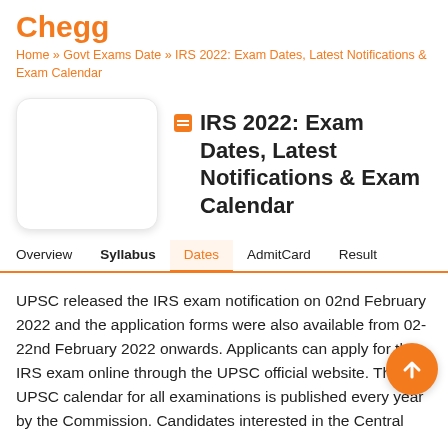Chegg
Home » Govt Exams Date » IRS 2022: Exam Dates, Latest Notifications & Exam Calendar
[Figure (illustration): Blank rounded rectangle placeholder image]
IRS 2022: Exam Dates, Latest Notifications & Exam Calendar
Overview   Syllabus   Dates   AdmitCard   Result
UPSC released the IRS exam notification on 02nd February 2022 and the application forms were also available from 02-22nd February 2022 onwards. Applicants can apply for the IRS exam online through the UPSC official website. The UPSC calendar for all examinations is published every year by the Commission. Candidates interested in the Central